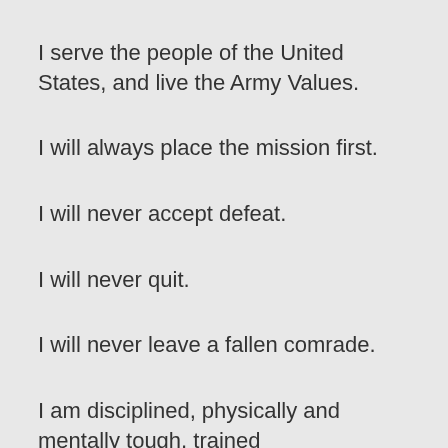I serve the people of the United States, and live the Army Values.
I will always place the mission first.
I will never accept defeat.
I will never quit.
I will never leave a fallen comrade.
I am disciplined, physically and mentally tough, trained and proficient in my warrior tasks and drills.